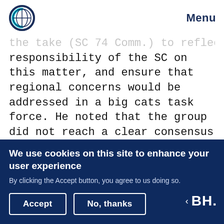Menu
the take (SC 74 Comm.) to reflect the responsibility of the SC on this matter, and ensure that regional concerns would be addressed in a big cats task force. He noted that the group did not reach a clear consensus about whether a resolution on lions would be needed at present, and therefore recommended postponing the decision until the work of the task force provides more complete information. The Committee accepted the draft decisions in the document.
We use cookies on this site to enhance your user experience
By clicking the Accept button, you agree to us doing so.